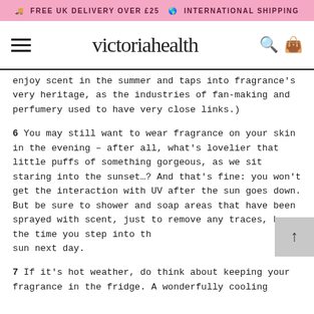🚚 FREE UK DELIVERY OVER £25  🌐 INTERNATIONAL SHIPPING
victoriahealth
enjoy scent in the summer and taps into fragrance's very heritage, as the industries of fan-making and perfumery used to have very close links.)
6 You may still want to wear fragrance on your skin in the evening – after all, what's lovelier that little puffs of something gorgeous, as we sit staring into the sunset…? And that's fine: you won't get the interaction with UV after the sun goes down. But be sure to shower and soap areas that have been sprayed with scent, just to remove any traces, by the time you step into the sun next day.
7 If it's hot weather, do think about keeping your fragrance in the fridge. A wonderfully cooling